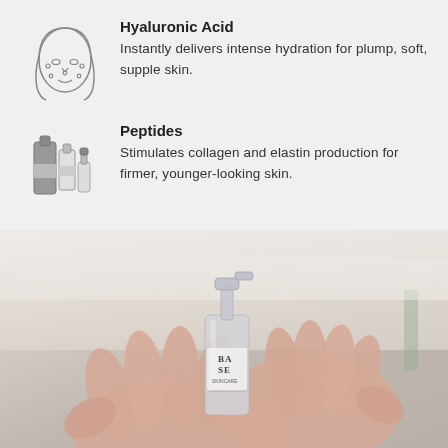[Figure (illustration): Line drawing icon of a face with spots/acne dots]
Hyaluronic Acid
Instantly delivers intense hydration for plump, soft, supple skin.
[Figure (illustration): Line drawing icon of skincare product bottles and dropper]
Peptides
Stimulates collagen and elastin production for firmer, younger-looking skin.
[Figure (photo): Photo of hands holding a glass serum bottle labeled BASE skincare, light blurred background]